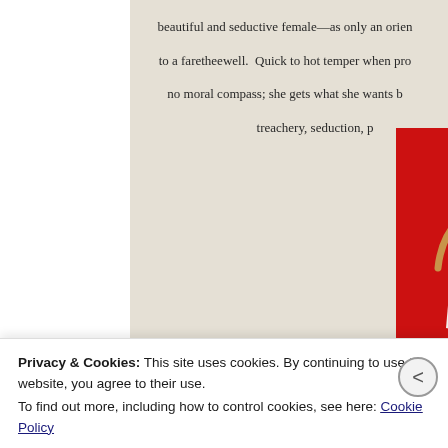beautiful and seductive female—as only an orien... to a faretheewell. Quick to hot temper when pro... no moral compass; she gets what she wants b... treachery, seduction, p...
[Figure (illustration): Illustrated figure of a tall seductive female character in a white dress with black accents, long dark hair, posed against a red background]
Privacy & Cookies: This site uses cookies. By continuing to use this website, you agree to their use. To find out more, including how to control cookies, see here: Cookie Policy
Close and accept